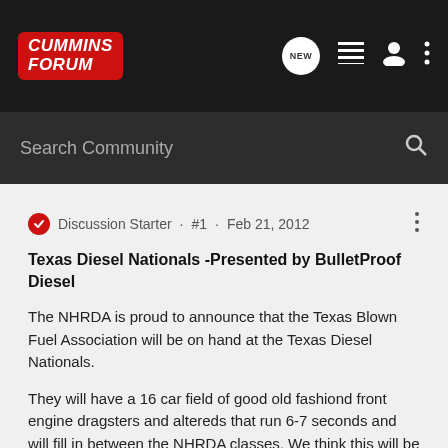Cummins Forum
Search Community
Discussion Starter · #1 · Feb 21, 2012
Texas Diesel Nationals -Presented by BulletProof Diesel
The NHRDA is proud to announce that the Texas Blown Fuel Association will be on hand at the Texas Diesel Nationals.
They will have a 16 car field of good old fashiond front engine dragsters and altereds that run 6-7 seconds and will fill in between the NHRDA classes. We think this will be a good addition to our already ever growing show.
Tickets are on sale now at nhrda.com